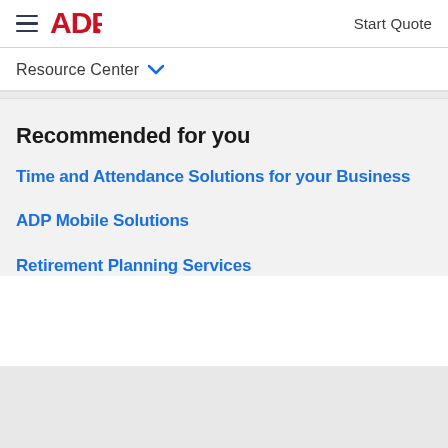ADP — Start Quote
Resource Center
Recommended for you
Time and Attendance Solutions for your Business
ADP Mobile Solutions
Retirement Planning Services